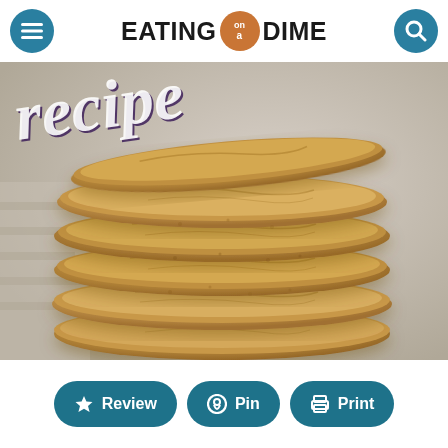EATING on a DIME
[Figure (photo): Stack of snickerdoodle cookies with cinnamon sugar coating, photographed close-up with 'recipe' text overlay in cursive white/dark lettering]
Review | Pin | Print